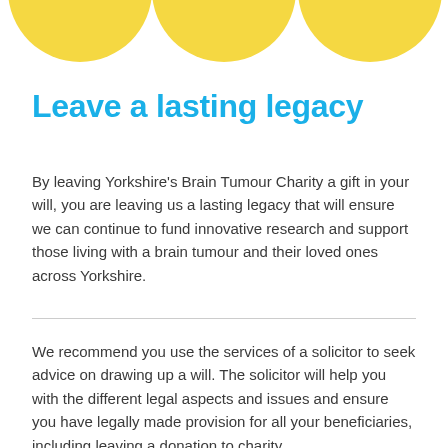[Figure (illustration): Three yellow circles/arcs decorating the top of the page]
Leave a lasting legacy
By leaving Yorkshire's Brain Tumour Charity a gift in your will, you are leaving us a lasting legacy that will ensure we can continue to fund innovative research and support those living with a brain tumour and their loved ones across Yorkshire.
We recommend you use the services of a solicitor to seek advice on drawing up a will. The solicitor will help you with the different legal aspects and issues and ensure you have legally made provision for all your beneficiaries, including leaving a donation to charity.
After taking care of family and friends, a small amount left to Yorkshire's Brain Tumour Charity can make a real difference for people affected by a brain tumour in the future. Your legacy would enable us to continue our work to support people across Yorkshire,